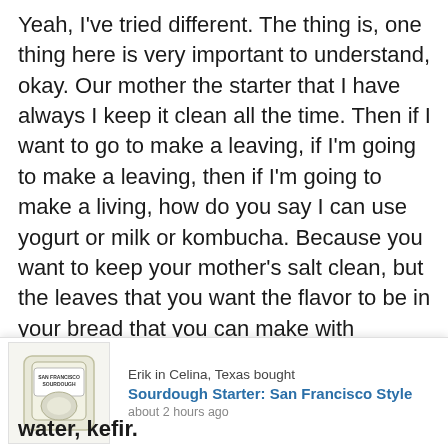Yeah, I've tried different. The thing is, one thing here is very important to understand, okay. Our mother the starter that I have always I keep it clean all the time. Then if I want to go to make a leaving, if I'm going to make a leaving, then if I'm going to make a living, how do you say I can use yogurt or milk or kombucha. Because you want to keep your mother's salt clean, but the leaves that you want the flavor to be in your bread that you can make with different tastes. So never make your original mother start to put all the ingredients in it. Keep that clean, but make different kinds of live and with different ingredients. Yeah. People can experiment and do whatever and see, actually, I have made bread
[Figure (other): Notification popup showing a product image of a bag of San Francisco Sourdough Starter, with text 'Erik in Celina, Texas bought Sourdough Starter: San Francisco Style about 2 hours ago']
water ce s. water, kefir.